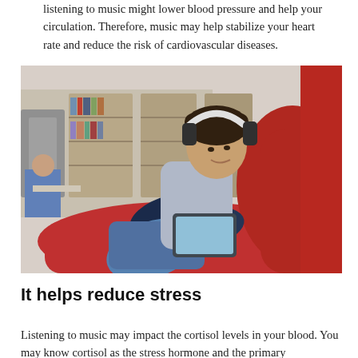listening to music might lower blood pressure and help your circulation. Therefore, music may help stabilize your heart rate and reduce the risk of cardiovascular diseases.
[Figure (photo): A young man wearing headphones sits relaxed on a red bean bag chair in a modern library, looking at a tablet device. In the background, another person is seated at a table, and bookshelves are visible.]
It helps reduce stress
Listening to music may impact the cortisol levels in your blood. You may know cortisol as the stress hormone and the primary